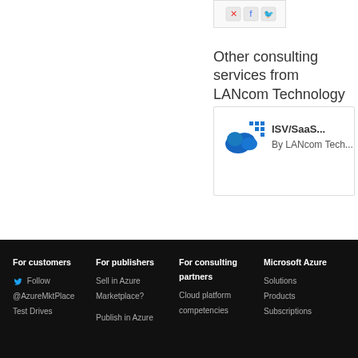[Figure (screenshot): Partial card image at top with icons]
Other consulting services from LANcom Technology
[Figure (illustration): Service card for ISV/SaaS... by LANcom Tech... with blue cloud logo]
ISV/SaaS...
By LANcom Tech...
For customers
Follow
@AzureMktPlace
Test Drives
For publishers
Sell in Azure Marketplace?
Publish in Azure
For consulting partners
Cloud platform competencies
Microsoft Azure
Solutions
Products
Subscriptions